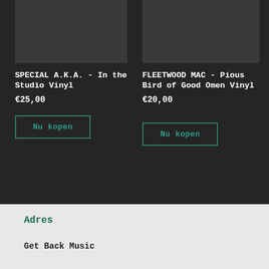[Figure (photo): Dark gray placeholder album artwork image for SPECIAL A.K.A.]
[Figure (photo): Dark gray placeholder album artwork image for FLEETWOOD MAC]
SPECIAL A.K.A. - In the Studio Vinyl
€25,00
Nu kopen
FLEETWOOD MAC - Pious Bird of Good Omen Vinyl
€20,00
Nu kopen
Adres
Get Back Music